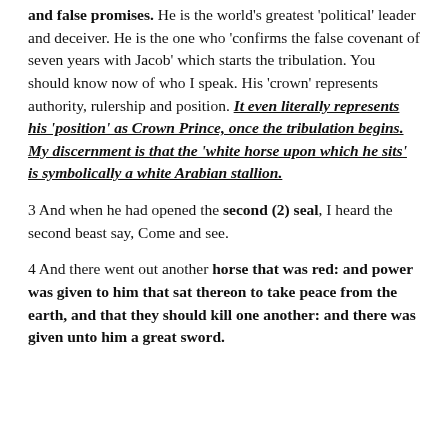and false promises. He is the world's greatest 'political' leader and deceiver. He is the one who 'confirms the false covenant of seven years with Jacob' which starts the tribulation. You should know now of who I speak. His 'crown' represents authority, rulership and position. It even literally represents his 'position' as Crown Prince, once the tribulation begins. My discernment is that the 'white horse upon which he sits' is symbolically a white Arabian stallion.
3 And when he had opened the second (2) seal, I heard the second beast say, Come and see.
4 And there went out another horse that was red: and power was given to him that sat thereon to take peace from the earth, and that they should kill one another: and there was given unto him a great sword.